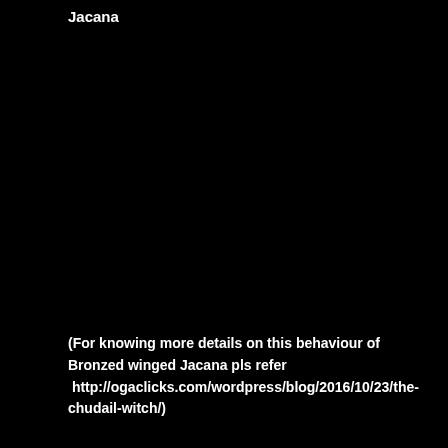Jacana
(For knowing more details on this behaviour of Bronzed winged Jacana pls refer http://ogaclicks.com/wordpress/blog/2016/10/23/the-chudail-witch/)